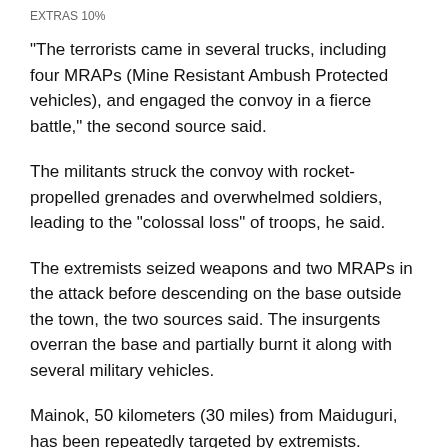EXTRAS 10%
“The terrorists came in several trucks, including four MRAPs (Mine Resistant Ambush Protected vehicles), and engaged the convoy in a fierce battle,” the second source said.
The militants struck the convoy with rocket-propelled grenades and overwhelmed soldiers, leading to the “colossal loss” of troops, he said.
The extremists seized weapons and two MRAPs in the attack before descending on the base outside the town, the two sources said. The insurgents overran the base and partially burnt it along with several military vehicles.
Mainok, 50 kilometers (30 miles) from Maiduguri, has been repeatedly targeted by extremists.